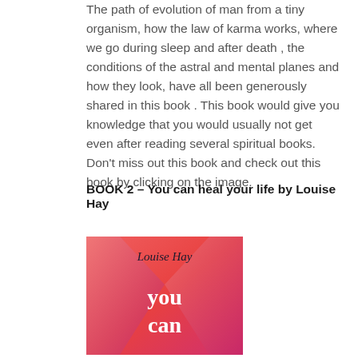The path of evolution of man from a tiny organism, how the law of karma works, where we go during sleep and after death , the conditions of the astral and mental planes and how they look, have all been generously shared in this book . This book would give you knowledge that you would usually not get even after reading several spiritual books. Don't miss out this book and check out this book by clicking on the image.
BOOK 2 – You can heal your life by Louise Hay
[Figure (photo): Book cover of 'You Can Heal Your Life' by Louise Hay. Pink and red gradient background with a heart/chevron shape. Author name 'Louise Hay' in dark text at top, 'you can' in large white text below.]